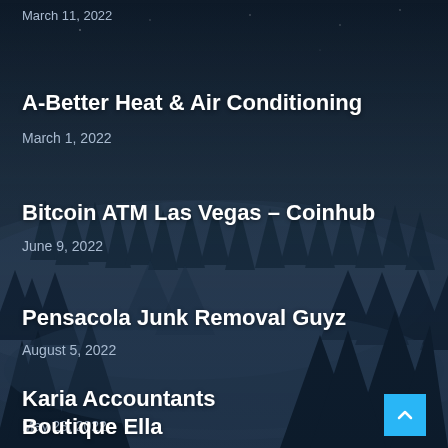March 11, 2022
A-Better Heat & Air Conditioning
March 1, 2022
Bitcoin ATM Las Vegas – Coinhub
June 9, 2022
Pensacola Junk Removal Guyz
August 5, 2022
Karia Accountants
May 28, 2022
Boutique Ella